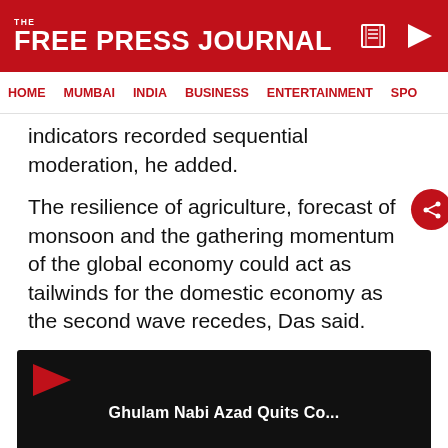THE FREE PRESS JOURNAL
HOME   MUMBAI   INDIA   BUSINESS   ENTERTAINMENT   SPO
indicators recorded sequential moderation, he added.
The resilience of agriculture, forecast of monsoon and the gathering momentum of the global economy could act as tailwinds for the domestic economy as the second wave recedes, Das said.
[Figure (screenshot): Video thumbnail with black background, red play button icon, white bold text 'Ghulam Nabi Azad Quits Co...', and a loading spinner circle at bottom center]